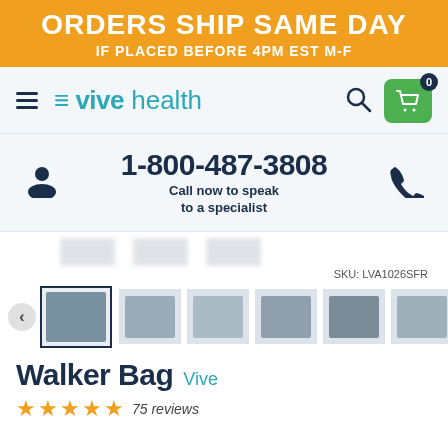ORDERS SHIP SAME DAY IF PLACED BEFORE 4PM EST M-F
[Figure (screenshot): Vive Health website navigation bar with hamburger menu, Vive Health logo, search icon, and green cart icon showing 0 items]
1-800-487-3808
Call now to speak to a specialist
SKU: LVA1026SFR
[Figure (photo): Product thumbnail gallery showing walker bag product images including bag on walker, person using walker, flat bag view, and other product angles]
Walker Bag
Vive
75 reviews